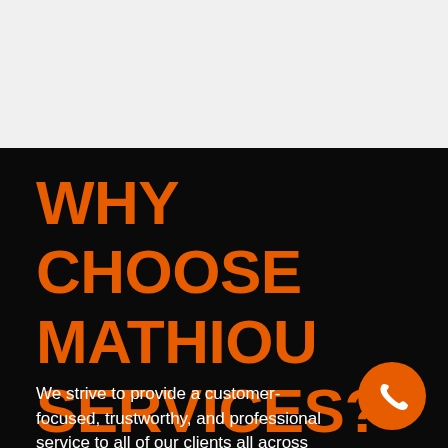WHY CHOOSE MATHIOU SERVICES?
We strive to provide a customer-focused, trustworthy, and professional service to all of our clients all across
[Figure (illustration): Orange circular phone/call button icon in the bottom right corner]